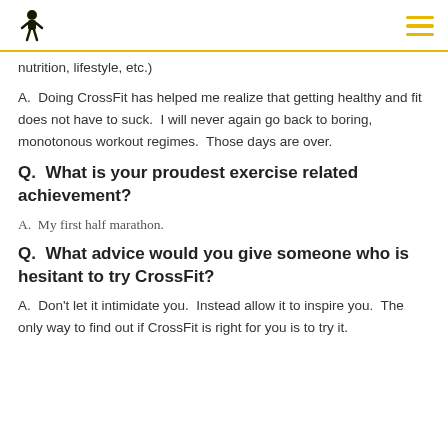[CrossFit logo] [hamburger menu]
nutrition, lifestyle, etc.)
A.  Doing CrossFit has helped me realize that getting healthy and fit does not have to suck.  I will never again go back to boring, monotonous workout regimes.  Those days are over.
Q.  What is your proudest exercise related achievement?
A.  My first half marathon.
Q.  What advice would you give someone who is hesitant to try CrossFit?
A.  Don't let it intimidate you.  Instead allow it to inspire you.  The only way to find out if CrossFit is right for you is to try it.